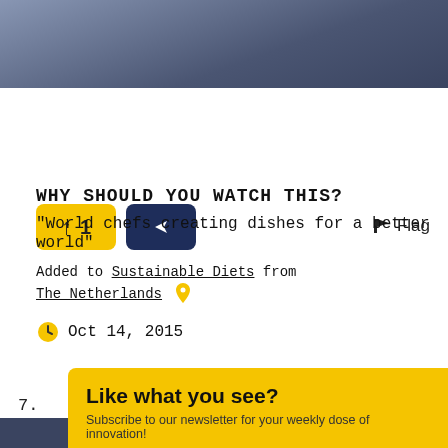[Figure (photo): Top portion of a photo showing a person, partially visible, with dark/bluish overlay]
[Figure (infographic): Action bar with yellow upvote button showing count 1, dark blue share button, and Flag option on the right]
WHY SHOULD YOU WATCH THIS?
“World chefs creating dishes for a better world”
Added to Sustainable Diets from The Netherlands 📍
Oct 14, 2015
7.
Like what you see?
Subscribe to our newsletter for your weekly dose of innovation!
Enter your email address
Subscribe!